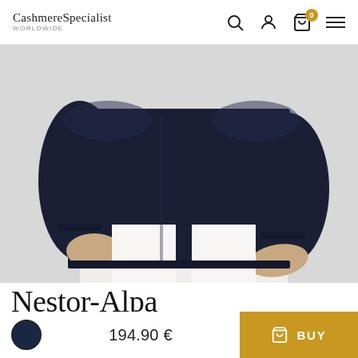CashmereSpecialist WORLDWIDE
[Figure (photo): Torso of a man wearing a navy blue cashmere sweater and white trousers, hands in pockets]
Nestor-Alpa
194.90 €
BUY